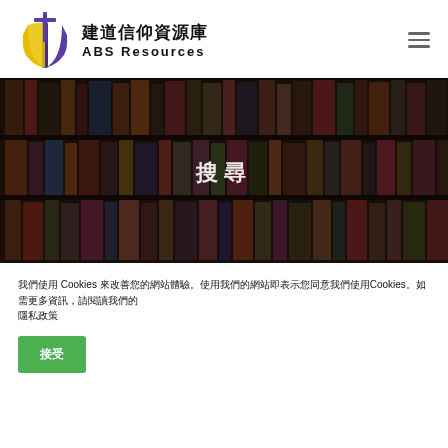[Figure (logo): ABS Resources logo with cross and book icon, Chinese text 建道信仰資源庫 and English text ABS Resources]
[Figure (photo): Dark blurred background image of library bookshelves with Chinese characters overlaid in white]
我們使用 Cookies 來改善您的網站體驗。使用我們的網站即表示您同意我們使用Cookies。如需更多資訊，請閱讀我們的
隱私政策
接受